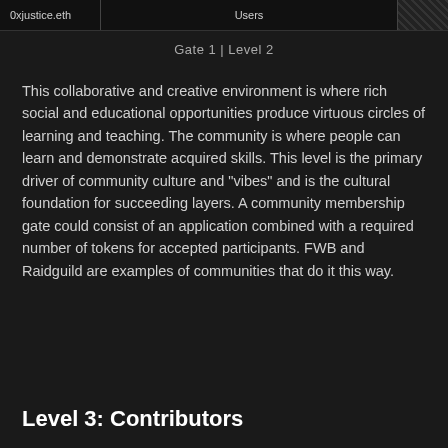0xjustice.eth | Users
Gate 1 | Level 2
This collaborative and creative environment is where rich social and educational opportunities produce virtuous circles of learning and teaching. The community is where people can learn and demonstrate acquired skills. This level is the primary driver of community culture and "vibes" and is the cultural foundation for succeeding layers. A community membership gate could consist of an application combined with a required number of tokens for accepted participants. FWB and Raidguild are examples of communities that do it this way.
Level 3: Contributors